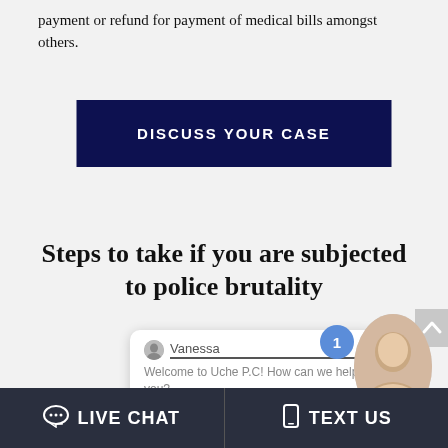payment or refund for payment of medical bills amongst others.
[Figure (other): Dark navy blue button with white bold uppercase text reading DISCUSS YOUR CASE]
Steps to take if you are subjected to police brutality
[Figure (screenshot): Live chat widget overlay showing agent Vanessa with message 'Welcome to Uche P.C! How can we help you?', a notification badge with number 1, and an Online Agent badge with green dot and photo of female agent]
[Figure (other): Bottom navigation bar with two sections: LIVE CHAT (left, with speech bubble icon) and TEXT US (right, with phone icon), both on dark navy/charcoal background]